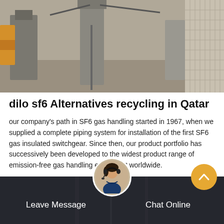[Figure (photo): Industrial equipment photo showing SF6 gas handling / switchgear installation outdoors]
dilo sf6 Alternatives recycling in Qatar
our company's path in SF6 gas handling started in 1967, when we supplied a complete piping system for installation of the first SF6 gas insulated switchgear. Since then, our product portfolio has successively been developed to the widest product range of emission-free gas handling equipment worldwide.
[Figure (infographic): Get Price orange button]
[Figure (photo): Bottom section with dark overlay showing industrial background, customer service representative avatar, Leave Message and Chat Online buttons, and scroll-to-top arrow button]